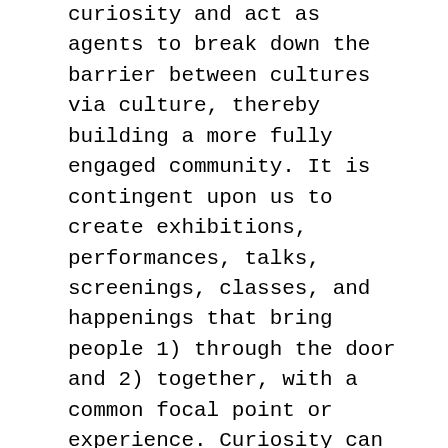curiosity and act as agents to break down the barrier between cultures via culture, thereby building a more fully engaged community. It is contingent upon us to create exhibitions, performances, talks, screenings, classes, and happenings that bring people 1) through the door and 2) together, with a common focal point or experience. Curiosity can lead people to take action, and taking action with others can foster community and civic engagement. People from diverse cultures who find themselves doing something together often develop relationships that bridge those cultural divides.
Clearly, these bridge-building events must be affordable and accessible to all and they must be the types of experiences that